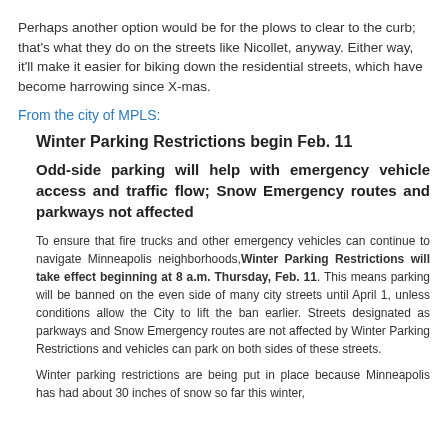Perhaps another option would be for the plows to clear to the curb; that's what they do on the streets like Nicollet, anyway. Either way, it'll make it easier for biking down the residential streets, which have become harrowing since X-mas.
From the city of MPLS:
Winter Parking Restrictions begin Feb. 11
Odd-side parking will help with emergency vehicle access and traffic flow; Snow Emergency routes and parkways not affected
To ensure that fire trucks and other emergency vehicles can continue to navigate Minneapolis neighborhoods, Winter Parking Restrictions will take effect beginning at 8 a.m. Thursday, Feb. 11. This means parking will be banned on the even side of many city streets until April 1, unless conditions allow the City to lift the ban earlier. Streets designated as parkways and Snow Emergency routes are not affected by Winter Parking Restrictions and vehicles can park on both sides of these streets.
Winter parking restrictions are being put in place because Minneapolis has had about 30 inches of snow so far this winter,